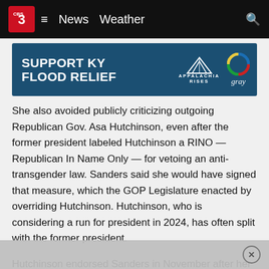News  Weather
[Figure (infographic): Support KY Flood Relief advertisement banner featuring Appalachia Rises and Gray TV logos]
She also avoided publicly criticizing outgoing Republican Gov. Asa Hutchinson, even after the former president labeled Hutchinson a RINO — Republican In Name Only — for vetoing an anti-transgender law. Sanders said she would have signed that measure, which the GOP Legislature enacted by overriding Hutchinson. Hutchinson, who is considering a run for president in 2024, has often split with the former president.
Hutchinson endorsed Sanders in November after her two chief rivals for the nomination — Lt. Gov. Tim Griffin and Attorney General Leslie Rutledge — dropped out to seek other offices. Hutchinson was barred by term limits from